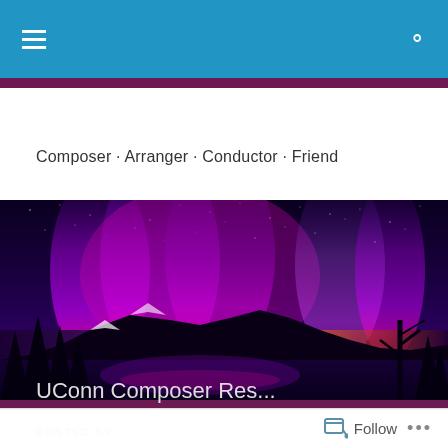Navigation bar with menu and search icons
Composer · Arranger · Conductor · Friend
[Figure (photo): Panoramic aurora borealis (northern lights) over a mountain lake at dusk, with purple and magenta light curtains in a starry night sky, silhouetted pine trees and snowy mountains]
POSTED BY
UConn Composer Res...
Follow ...